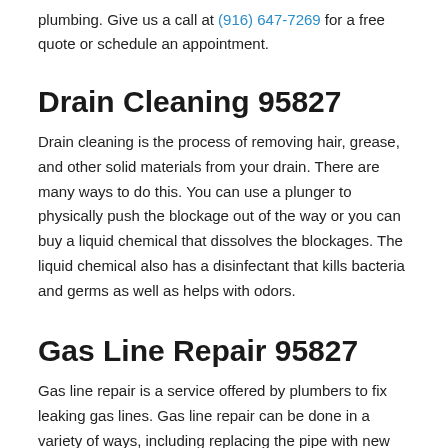plumbing. Give us a call at (916) 647-7269 for a free quote or schedule an appointment.
Drain Cleaning 95827
Drain cleaning is the process of removing hair, grease, and other solid materials from your drain. There are many ways to do this. You can use a plunger to physically push the blockage out of the way or you can buy a liquid chemical that dissolves the blockages. The liquid chemical also has a disinfectant that kills bacteria and germs as well as helps with odors.
Gas Line Repair 95827
Gas line repair is a service offered by plumbers to fix leaking gas lines. Gas line repair can be done in a variety of ways, including replacing the pipe with new PVC pipe, using steel pipe to patch the leak and then coating it with cement, or simply tightening